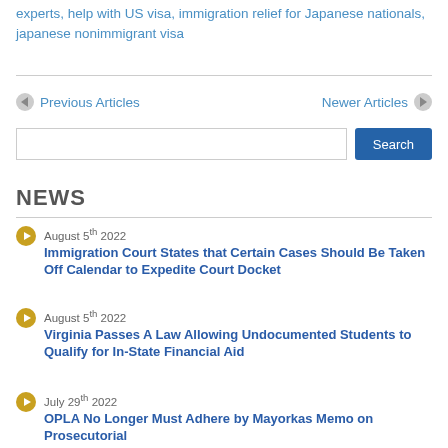experts, help with US visa, immigration relief for Japanese nationals, japanese nonimmigrant visa
Previous Articles
Newer Articles
NEWS
August 5th 2022 — Immigration Court States that Certain Cases Should Be Taken Off Calendar to Expedite Court Docket
August 5th 2022 — Virginia Passes A Law Allowing Undocumented Students to Qualify for In-State Financial Aid
July 29th 2022 — OPLA No Longer Must Adhere by Mayorkas Memo on Prosecutorial